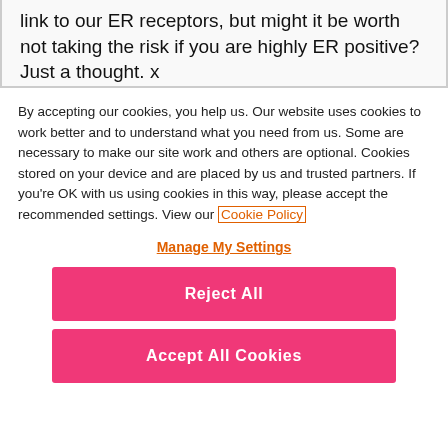link to our ER receptors, but might it be worth not taking the risk if you are highly ER positive? Just a thought. x
By accepting our cookies, you help us. Our website uses cookies to work better and to understand what you need from us. Some are necessary to make our site work and others are optional. Cookies stored on your device and are placed by us and trusted partners. If you're OK with us using cookies in this way, please accept the recommended settings. View our Cookie Policy
Manage My Settings
Reject All
Accept All Cookies